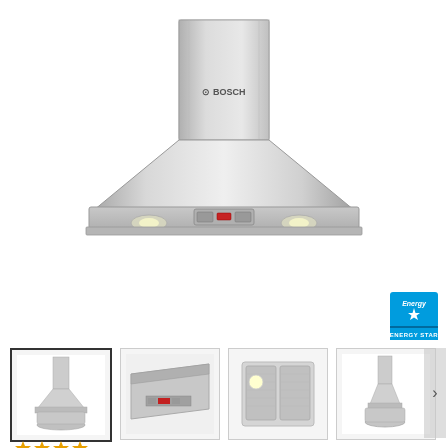[Figure (photo): Bosch stainless steel range hood / chimney ventilation hood, front-facing product photo showing tapered chimney body and wide base with LED lights and control panel]
[Figure (logo): ENERGY STAR certification logo]
[Figure (photo): Thumbnail 1 (selected): Front view of Bosch range hood]
[Figure (photo): Thumbnail 2: Close-up of control panel]
[Figure (photo): Thumbnail 3: Underside/interior view of hood]
[Figure (photo): Thumbnail 4: Side/angle view of Bosch range hood]